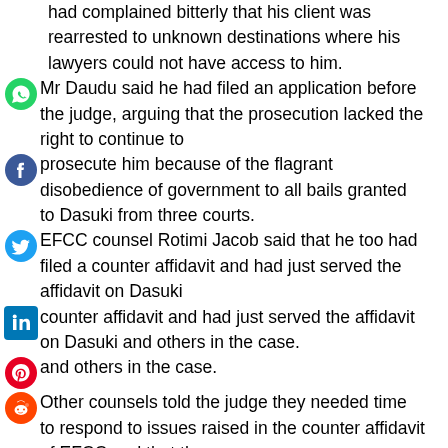had complained bitterly that his client was rearrested to unknown destinations where his lawyers could not have access to him. Mr Daudu said he had filed an application before the judge, arguing that the prosecution lacked the right to continue to prosecute him because of the flagrant disobedience of government to all bails granted to Dasuki from three courts. EFCC counsel Rotimi Jacob said that he too had filed a counter affidavit and had just served the affidavit on Dasuki and others in the case. Other counsels told the judge they needed time to respond to issues raised in the counter affidavit of EFCC and that the trial should not continue until the applications are concluded. Dasuki was re-arrested by operatives of the DSS on December 29, 2015 shortly after he was released from prison upon fulfilling the bail conditions granted him by Justice Affen and two other judges which amounted to disobedience of the orders granting bail to their client.